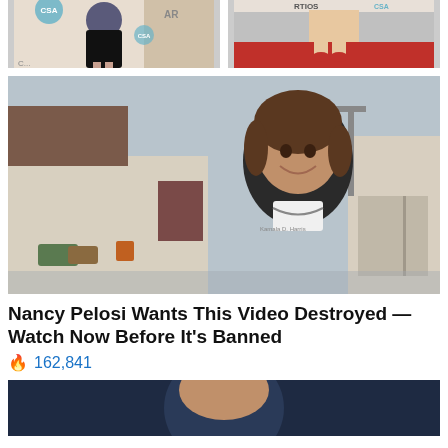[Figure (photo): Two celebrity photos side by side at CSA Artios Awards red carpet event, women in dresses]
[Figure (photo): Woman in black jacket labeled 'Kamala Harris' smiling outdoors in front of a warehouse]
Nancy Pelosi Wants This Video Destroyed — Watch Now Before It's Banned
🔥 162,841
[Figure (photo): Partial photo at bottom, dark blue background showing person's head]